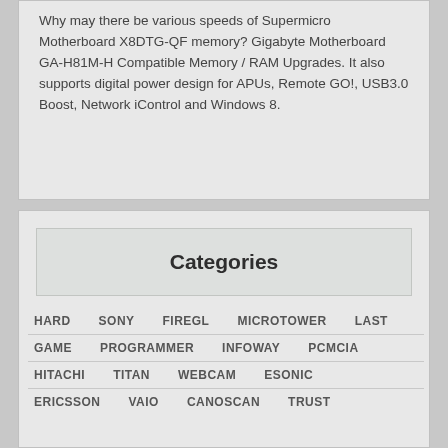Why may there be various speeds of Supermicro Motherboard X8DTG-QF memory? Gigabyte Motherboard GA-H81M-H Compatible Memory / RAM Upgrades. It also supports digital power design for APUs, Remote GO!, USB3.0 Boost, Network iControl and Windows 8.
Categories
HARD  SONY  FIREGL  MICROTOWER  LAST
GAME  PROGRAMMER  INFOWAY  PCMCIA
HITACHI  TITAN  WEBCAM  ESONIC
ERICSSON  VAIO  CANOSCAN  TRUST